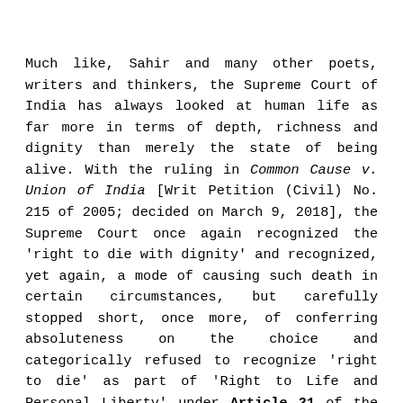Much like, Sahir and many other poets, writers and thinkers, the Supreme Court of India has always looked at human life as far more in terms of depth, richness and dignity than merely the state of being alive. With the ruling in Common Cause v. Union of India [Writ Petition (Civil) No. 215 of 2005; decided on March 9, 2018], the Supreme Court once again recognized the 'right to die with dignity' and recognized, yet again, a mode of causing such death in certain circumstances, but carefully stopped short, once more, of conferring absoluteness on the choice and categorically refused to recognize 'right to die' as part of 'Right to Life and Personal Liberty' under Article 21 of the Constitution and went only so far as to recognize 'right to die with dignity' as part of Right to Life, which was what the petitioner-society had pressed for distinguishing it from